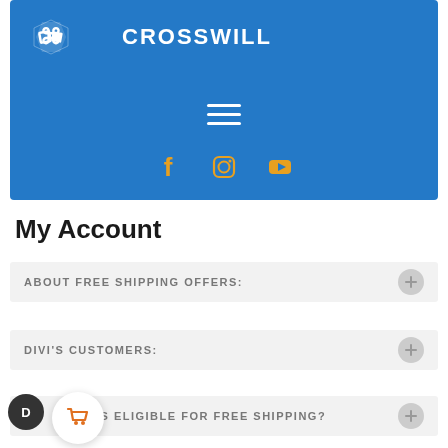[Figure (screenshot): Crosswill website header with blue background, logo, hamburger menu, and social media icons (Facebook, Instagram, YouTube) in orange/yellow]
My Account
ABOUT FREE SHIPPING OFFERS:
DIVI'S CUSTOMERS:
WHO IS ELIGIBLE FOR FREE SHIPPING?